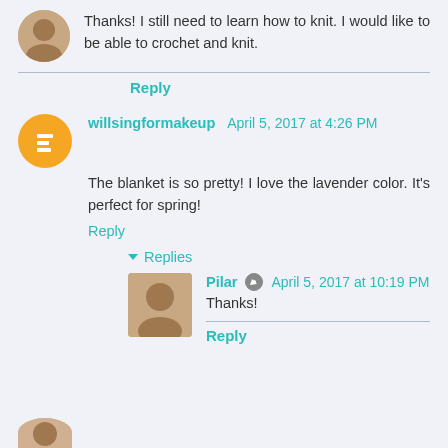Thanks! I still need to learn how to knit. I would like to be able to crochet and knit.
Reply
willsingformakeup April 5, 2017 at 4:26 PM
The blanket is so pretty! I love the lavender color. It's perfect for spring!
Reply
Replies
Pilar April 5, 2017 at 10:19 PM
Thanks!
Reply